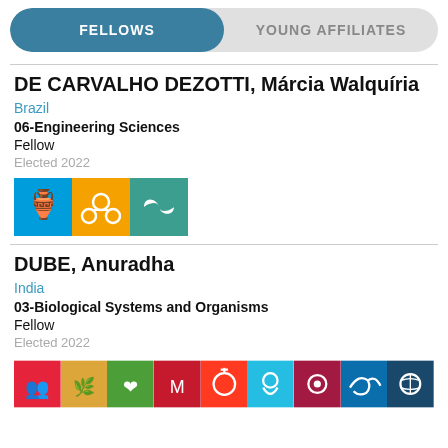FELLOWS | YOUNG AFFILIATES
DE CARVALHO DEZOTTI, Márcia Walquíria
Brazil
06-Engineering Sciences
Fellow
Elected 2022
[Figure (infographic): Three SDG icons: SDG 6 clean water (blue), SDG 17 partnerships (orange), SDG 8 (teal with infinity symbol)]
DUBE, Anuradha
India
03-Biological Systems and Organisms
Fellow
Elected 2022
[Figure (infographic): Row of SDG icons in various colors including red, yellow, green, red, magenta, pink, dark red, blue]